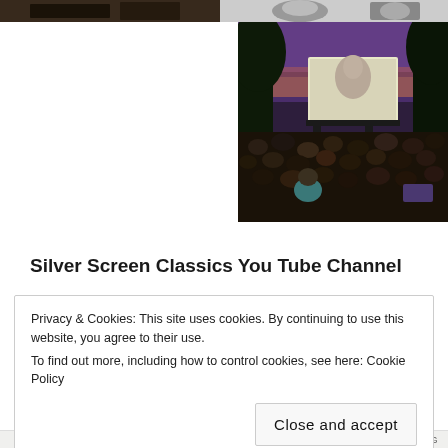[Figure (photo): Partial top strip showing two images: left side dark scene (indoor/cinema), right side black and white portrait]
[Figure (photo): Outdoor cinema event at dusk — large crowd seated on grass watching a movie on a big outdoor screen, trees in background, purple sky]
Silver Screen Classics You Tube Channel
Privacy & Cookies: This site uses cookies. By continuing to use this website, you agree to their use.
To find out more, including how to control cookies, see here: Cookie Policy
Close and accept